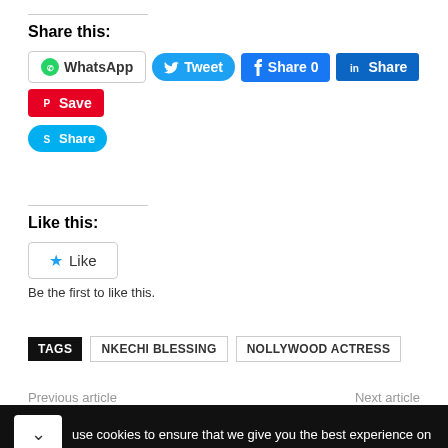Share this:
WhatsApp  Tweet  Share 0  Share  Save  Share
Like this:
Like
Be the first to like this.
TAGS  NKECHI BLESSING  NOLLYWOOD ACTRESS
Previous article   Next article
use cookies to ensure that we give you the best experience on
Time For a Trim?  Hair Cuttery